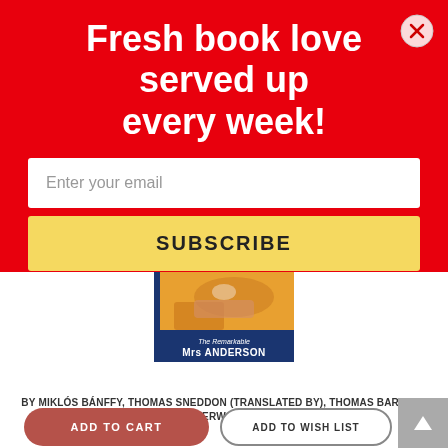Fresh book love served up every week!
Enter your email
SUBSCRIBE
[Figure (illustration): Book cover for The Remarkable Mrs Anderson showing a reclining figure with orange/warm tones, with a dark blue band at the bottom showing the title]
The Remarkable Mrs. Anderson (Paperback)
BY MIKLÓS BÁNFFY, THOMAS SNEDDON (TRANSLATED BY), THOMAS BARCSAY (AFTERWORD BY)
$17.00
ADD TO CART
ADD TO WISH LIST